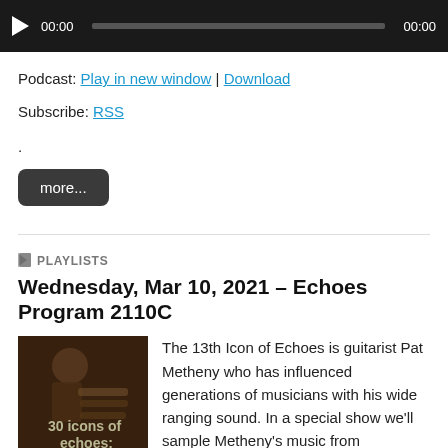[Figure (other): Audio player with dark background, play button, time display 00:00, progress bar, and end time 00:00]
Podcast: Play in new window | Download
Subscribe: RSS
.
more...
PLAYLISTS
Wednesday, Mar 10, 2021 – Echoes Program 2110C
[Figure (photo): Album art showing guitarist with text '30 icons of echoes:' and 'pat']
The 13th Icon of Echoes is guitarist Pat Metheny who has influenced generations of musicians with his wide ranging sound. In a special show we'll sample Metheny's music from